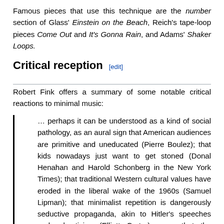Famous pieces that use this technique are the number section of Glass' Einstein on the Beach, Reich's tape-loop pieces Come Out and It's Gonna Rain, and Adams' Shaker Loops.
Critical reception [edit]
Robert Fink offers a summary of some notable critical reactions to minimal music:
… perhaps it can be understood as a kind of social pathology, as an aural sign that American audiences are primitive and uneducated (Pierre Boulez); that kids nowadays just want to get stoned (Donal Henahan and Harold Schonberg in the New York Times); that traditional Western cultural values have eroded in the liberal wake of the 1960s (Samuel Lipman); that minimalist repetition is dangerously seductive propaganda, akin to Hitler's speeches and advertising (Elliott Carter); even that the commodity-fetishism of